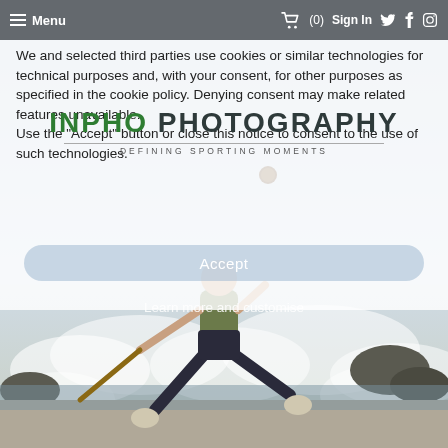[Figure (screenshot): Website screenshot of Inpho Photography. Shows a nav bar at top with hamburger menu, Menu text, shopping cart icon with (0), Sign In, and social media icons (Twitter, Facebook, Instagram). A cookie consent overlay covers the upper portion of the page over a background photo of a man jumping on a beach while playing hurling. The cookie notice text reads: 'We and selected third parties use cookies or similar technologies for technical purposes and, with your consent, for other purposes as specified in the cookie policy. Denying consent may make related features unavailable. Use the Accept button or close this notice to consent to the use of such technologies.' The Inpho Photography logo is overlaid in the center with subtitle DEFINING SPORTING MOMENTS. An Accept button and Learn more and customise link appear on the photo below.]
Menu  (0)  Sign In
We and selected third parties use cookies or similar technologies for technical purposes and, with your consent, for other purposes as specified in the cookie policy. Denying consent may make related features unavailable. Use the "Accept" button or close this notice to consent to the use of such technologies.
INPHO PHOTOGRAPHY
DEFINING SPORTING MOMENTS
Accept
Learn more and customise